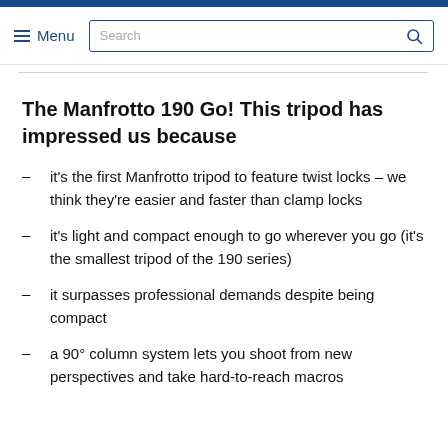Menu | Search
The Manfrotto 190 Go! This tripod has impressed us because
it's the first Manfrotto tripod to feature twist locks – we think they're easier and faster than clamp locks
it's light and compact enough to go wherever you go (it's the smallest tripod of the 190 series)
it surpasses professional demands despite being compact
a 90° column system lets you shoot from new perspectives and take hard-to-reach macros